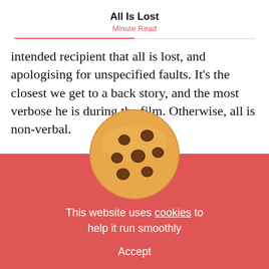All Is Lost
Minute Read
intended recipient that all is lost, and apologising for unspecified faults. It's the closest we get to a back story, and the most verbose he is during the film. Otherwise, all is non-verbal.
Director J C Chando[r]... ear old former commercials dire[ctor, ma]de his feature
[Figure (illustration): Cookie consent overlay with a chocolate chip cookie emoji/illustration centered above a red background panel. Text reads: 'This website uses cookies to help it run smoothly' with an 'Accept' button below.]